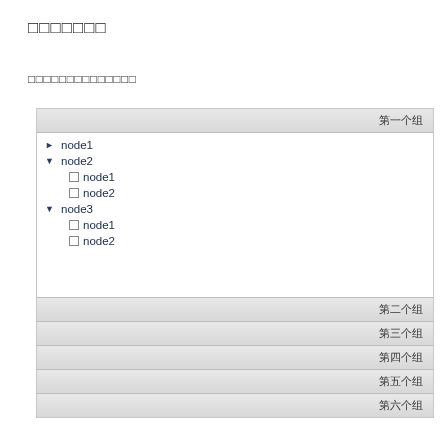□□□□□□□
□□□□□□□□□□□□□□
[Figure (other): A tree-view widget showing a grouped list with '第一个组' as the expanded group header containing node1 (collapsed), node2 (expanded with node1 and node2 children), node3 (expanded with node1 and node2 children). Below are collapsed group headers: 第二个组, 第三个组, 第四个组, 第五个组, 第六个组.]